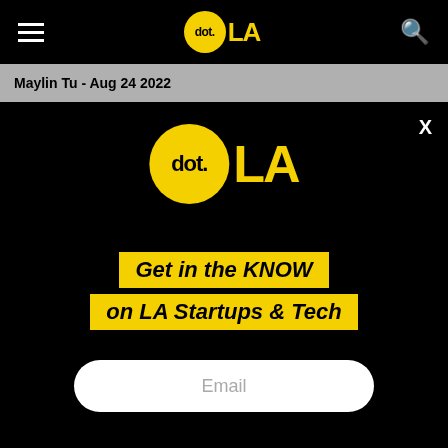dot.LA — navigation bar with hamburger menu and search icon
Maylin Tu - Aug 24 2022
[Figure (logo): dot.LA logo — yellow circle with 'dot.' text and 'LA' in yellow bold serif next to it, on black background. Large modal popup version.]
Get in the KNOW on LA Startups & Tech
Email